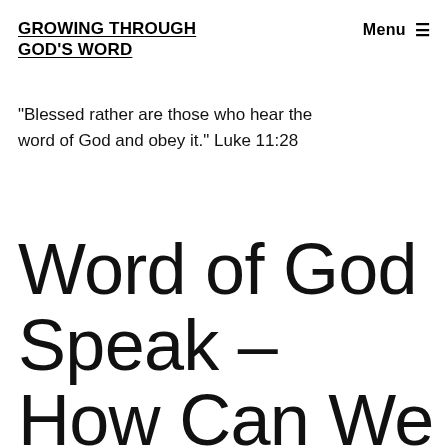GROWING THROUGH GOD'S WORD
"Blessed rather are those who hear the word of God and obey it." Luke 11:28
Word of God Speak – How Can We Find